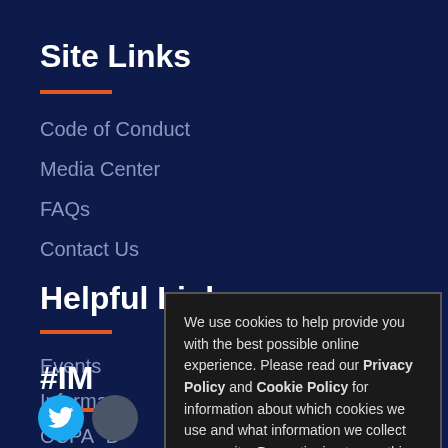Site Links
Code of Conduct
Media Center
FAQs
Contact Us
Helpful Links
Events
Informa
CCPA "D
#IM
[Figure (illustration): Twitter bird icon social media button]
[Figure (illustration): Secondary social media icon button]
We use cookies to help provide you with the best possible online experience. Please read our Privacy Policy and Cookie Policy for information about which cookies we use and what information we collect on our site. By continuing to use this site, you agree that we may store and access cookies on your device.
I AGREE